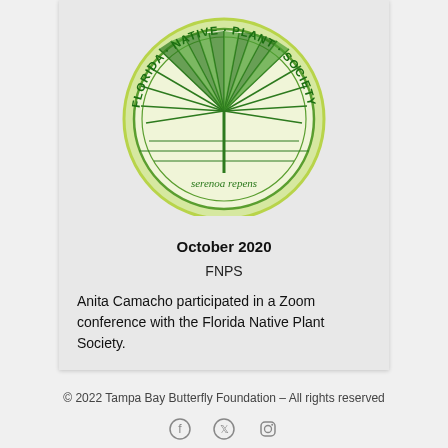[Figure (logo): Florida Native Plant Society circular logo with a palm (Serenoa repens) illustration, green and white color scheme, text arching around the top half reading FLORIDA NATIVE PLANT SOCIETY and 'serenoa repens' at the bottom]
October 2020
FNPS
Anita Camacho participated in a Zoom conference with the Florida Native Plant Society.
© 2022 Tampa Bay Butterfly Foundation – All rights reserved